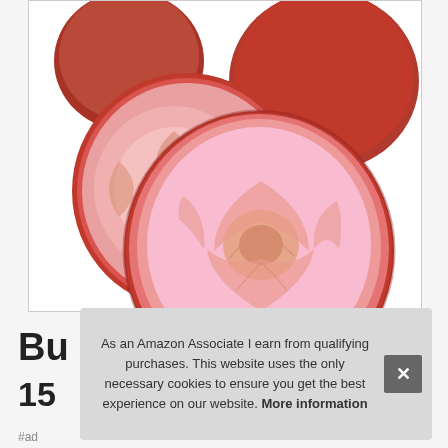[Figure (photo): Close-up photo of tomatoes: two whole round tomatoes in the background and two tomato halves sliced crosswise showing the interior flesh and seeds in the foreground, on a white background.]
Bu
15
As an Amazon Associate I earn from qualifying purchases. This website uses the only necessary cookies to ensure you get the best experience on our website. More information
#ad